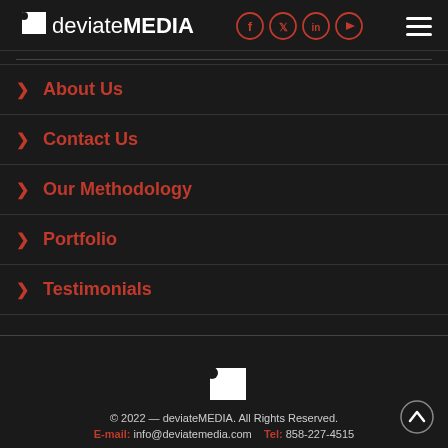deviateMEDIA [social icons: Facebook, Twitter, LinkedIn, YouTube] [hamburger menu]
About Us
Contact Us
Our Methodology
Portfolio
Testimonials
© 2022 — deviateMEDIA. All Rights Reserved. E-mail: info@deviatemedia.com  Tel: 858-227-4515